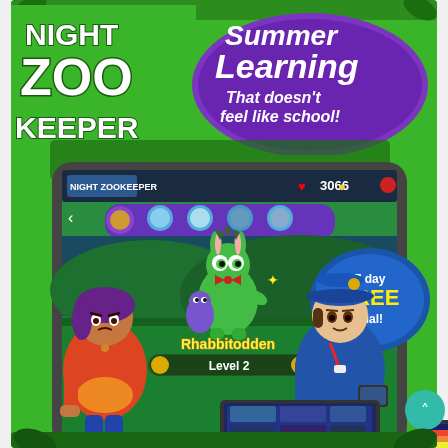[Figure (illustration): Night Zookeeper educational app advertisement. Green background with cartoon characters. Top left shows 'Night Zookeeper' logo text in white/purple. Top right shows purple badge with 'Summer Learning That doesn't feel like school!' text. Center shows a tablet displaying the Night Zookeeper game with a cartoon green dinosaur-rabbit creature named 'Rhabbitodden' at Level 2, with 3006 score shown. A '7 day FREE trial!' badge in yellow/blue appears on the right side. Bottom shows two cartoon characters: a girl with purple hair in red top and blue jeans on the left, and a boy in blue coat and hat on the right. Additional smaller device screenshots are visible at the bottom. A teal circular scroll-up button is visible at bottom right.]